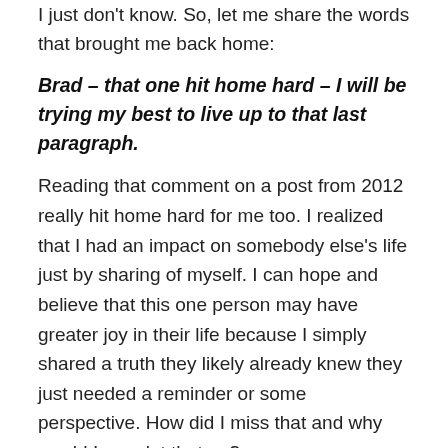I just don't know. So, let me share the words that brought me back home:
Brad – that one hit home hard – I will be trying my best to live up to that last paragraph.
Reading that comment on a post from 2012 really hit home hard for me too. I realized that I had an impact on somebody else's life just by sharing of myself. I can hope and believe that this one person may have greater joy in their life because I simply shared a truth they likely already knew they just needed a reminder or some perspective. How did I miss that and why would I ever let that go?
So, I am back. Can't promise my readers anything other than I will continue to share my thoughts, beliefs, and feelings as honestly and openly as I can. What am I hoping for with my return?